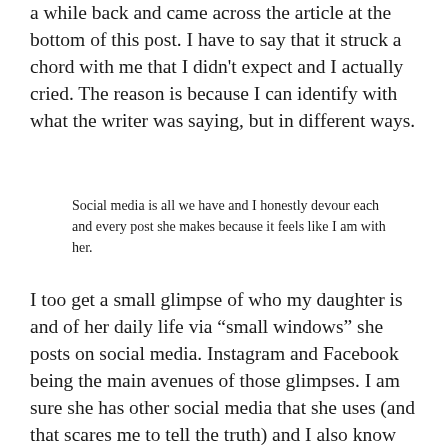a while back and came across the article at the bottom of this post. I have to say that it struck a chord with me that I didn't expect and I actually cried. The reason is because I can identify with what the writer was saying, but in different ways.
Social media is all we have and I honestly devour each and every post she makes because it feels like I am with her.
I too get a small glimpse of who my daughter is and of her daily life via “small windows” she posts on social media. Instagram and Facebook being the main avenues of those glimpses. I am sure she has other social media that she uses (and that scares me to tell the truth) and I also know that what I see on her accounts might not actually be what is going on in life since teens tend to have one account for everyone and then an account for just close friends where they can “be real.” I don’t know if she has any accounts like that for sure, but